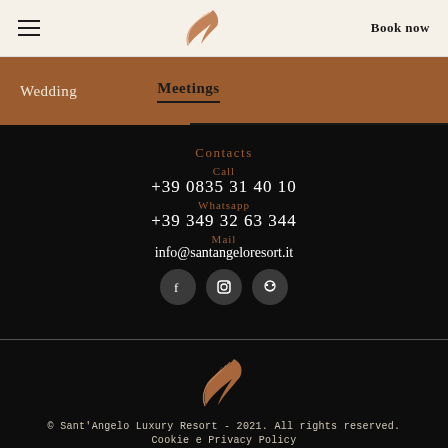≡  [logo]  Book now
Wedding   Meetings
Contacts
Call
+39 0835 31 40 10
Whatsapp
+39 349 32 63 344
Mail
info@santangeloresort.it
[Figure (other): Social media icons: Facebook, Instagram, TripAdvisor in dark circles]
[Figure (logo): Sant'Angelo Luxury Resort feather/wing logo in copper/brown tones on dark background]
© Sant'Angelo Luxury Resort - 2021. All rights reserved.
Cookie e Privacy Policy